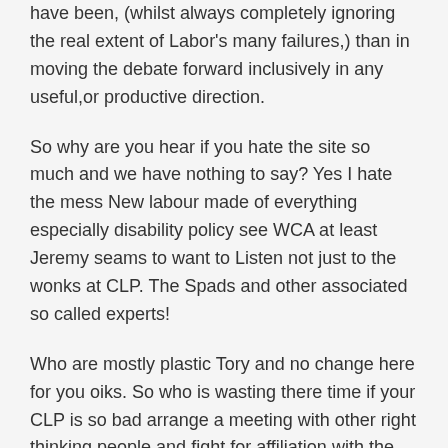have been, (whilst always completely ignoring the real extent of Labor's many failures,) than in moving the debate forward inclusively in any useful,or productive direction.
So why are you hear if you hate the site so much and we have nothing to say? Yes I hate the mess New labour made of everything especially disability policy see WCA at least Jeremy seams to want to Listen not just to the wonks at CLP. The Spads and other associated so called experts!
Who are mostly plastic Tory and no change here for you oiks. So who is wasting there time if your CLP is so bad arrange a meeting with other right thinking people and fight for affiliation with the party the more we go along with the old guard try and appease and understand doesn't work.
Revolution and grand change is in the air and we hope and prey to stay. I say if your not willing to listen to the views of the supporters and be